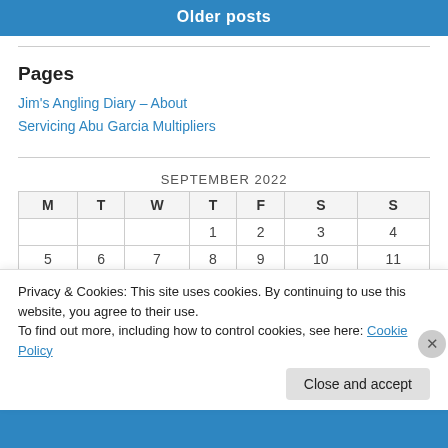Older posts
Pages
Jim's Angling Diary – About
Servicing Abu Garcia Multipliers
| M | T | W | T | F | S | S |
| --- | --- | --- | --- | --- | --- | --- |
|  |  |  | 1 | 2 | 3 | 4 |
| 5 | 6 | 7 | 8 | 9 | 10 | 11 |
Privacy & Cookies: This site uses cookies. By continuing to use this website, you agree to their use.
To find out more, including how to control cookies, see here: Cookie Policy
Close and accept